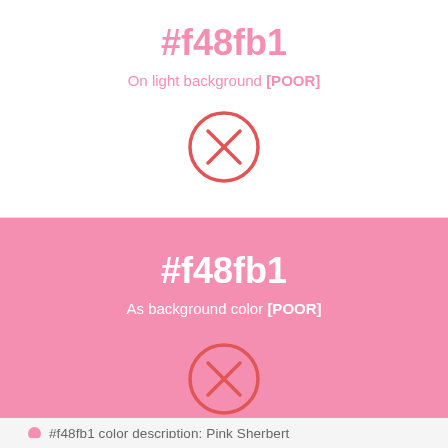#f48fb1
On light background [POOR]
[Figure (illustration): Circle with X mark inside, red/coral stroke, indicating poor contrast on light background]
#f48fb1
As background color [POOR]
[Figure (illustration): Circle with X mark inside, red/coral stroke on pink background, indicating poor contrast as background color]
#f48fb1 color description: Pink Sherbert